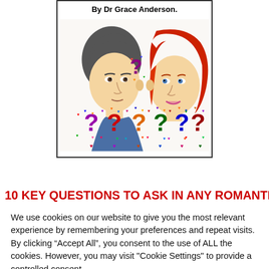[Figure (illustration): Book cover illustration showing a man with dark hair and a woman with red hair facing each other, surrounded by colorful question marks decorated with hearts. Text at top reads 'By Dr Grace Anderson.']
10 KEY QUESTIONS TO ASK IN ANY ROMANTIC
We use cookies on our website to give you the most relevant experience by remembering your preferences and repeat visits. By clicking “Accept All”, you consent to the use of ALL the cookies. However, you may visit "Cookie Settings" to provide a controlled consent.